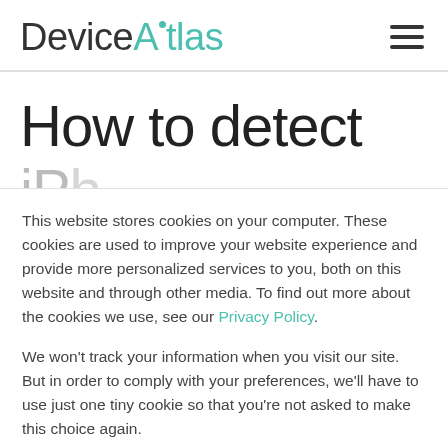DeviceAtlas
How to detect
This website stores cookies on your computer. These cookies are used to improve your website experience and provide more personalized services to you, both on this website and through other media. To find out more about the cookies we use, see our Privacy Policy.

We won't track your information when you visit our site. But in order to comply with your preferences, we'll have to use just one tiny cookie so that you're not asked to make this choice again.